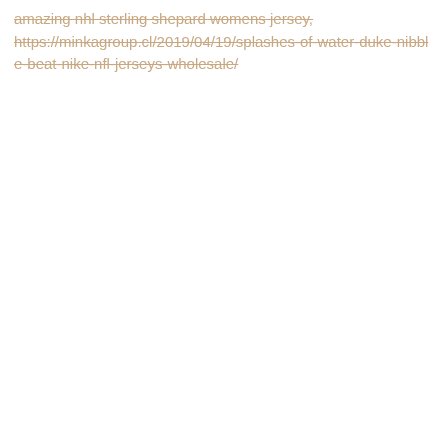amazing nhl sterling shepard womens jersey, https://minkagroup.cl/2019/04/19/splashes-of-water-duke-nibble-beat-nike-nfl-jerseys-wholesale/